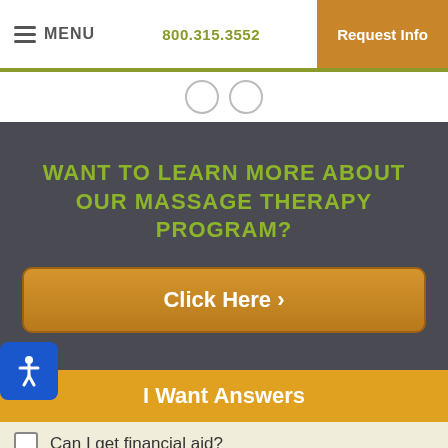≡ MENU   800.315.3552   Request Info
WANT TO LEARN MORE ABOUT OUR MASSAGE THERAPY PROGRAM?
Click Here ›
I Want Answers
Can I get financial aid?
My career prospects?
How much is tuition?
When does it start?
rogram *